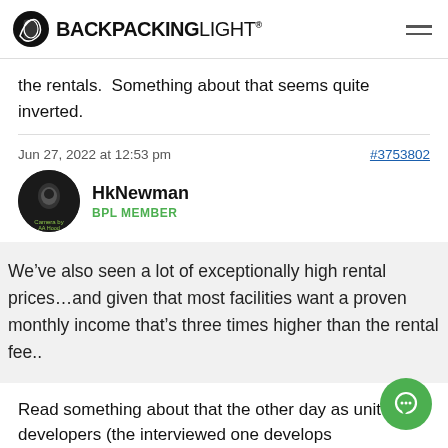BACKPACKINGLIGHT
the rentals.  Something about that seems quite inverted.
Jun 27, 2022 at 12:53 pm   #3753802
HkNewman
BPL MEMBER
We’ve also seen a lot of exceptionally high rental prices…and given that most facilities want a proven monthly income that’s three times higher than the rental fee..
Read something about that the other day as unit developers (the interviewed one develops